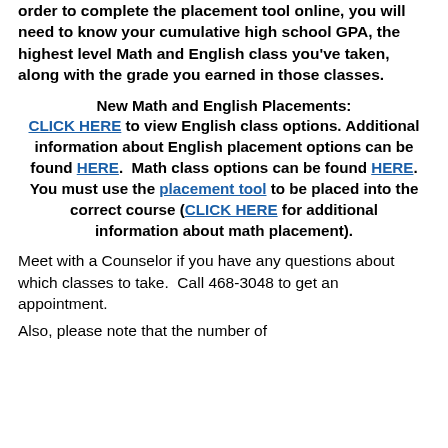order to complete the placement tool online, you will need to know your cumulative high school GPA, the highest level Math and English class you've taken, along with the grade you earned in those classes.
New Math and English Placements: CLICK HERE to view English class options. Additional information about English placement options can be found HERE. Math class options can be found HERE. You must use the placement tool to be placed into the correct course (CLICK HERE for additional information about math placement).
Meet with a Counselor if you have any questions about which classes to take. Call 468-3048 to get an appointment.
Also, please note that the number of